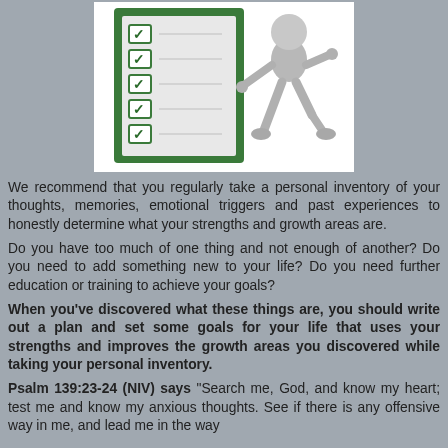[Figure (illustration): A 3D cartoon figure leaning against a green-bordered checklist board with five green checkmarks]
We recommend that you regularly take a personal inventory of your thoughts, memories, emotional triggers and past experiences to honestly determine what your strengths and growth areas are.
Do you have too much of one thing and not enough of another? Do you need to add something new to your life? Do you need further education or training to achieve your goals?
When you've discovered what these things are, you should write out a plan and set some goals for your life that uses your strengths and improves the growth areas you discovered while taking your personal inventory.
Psalm 139:23-24 (NIV) says "Search me, God, and know my heart; test me and know my anxious thoughts. See if there is any offensive way in me, and lead me in the way